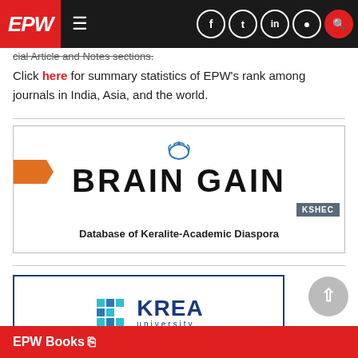EPW — navigation bar with logo, hamburger menu, and social icons
cial Article and Notes sections.
Click here for summary statistics of EPW's rank among journals in India, Asia, and the world.
[Figure (advertisement): Brain Gain — Database of Keralite-Academic Diaspora advertisement with KSHEC badge and orange arrow tag]
[Figure (advertisement): KREA University Teaching Fellows Programme advertisement with blue border]
EPW Books [external link icon]